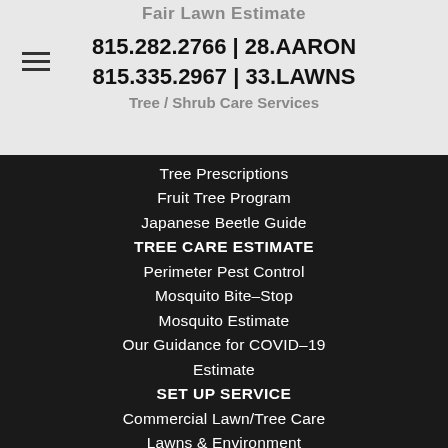Fair Lawn Estimate
815.282.2766 | 28.AARON
815.335.2967 | 33.LAWNS
Tree / Shrub Care Services
Tree Prescriptions
Fruit Tree Program
Japanese Beetle Guide
TREE CARE ESTIMATE
Perimeter Pest Control
Mosquito Bite–Stop
Mosquito Estimate
Our Guidance for COVID–19
Estimate
SET UP SERVICE
Commercial Lawn/Tree Care
Lawns & Environment
AARON'S LIST–Rec.Services
Aaron's Lawn / Tree Blog